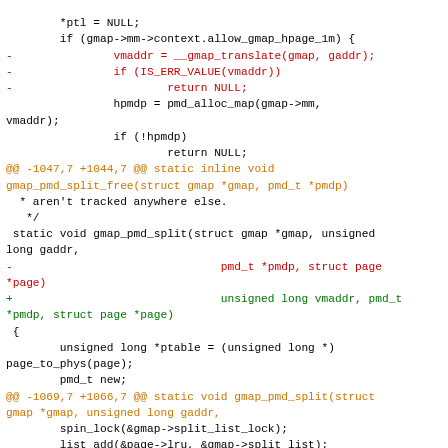Code diff showing changes to gmap_pmd_split function including hunk headers and removed/added lines for vmaddr parameter handling